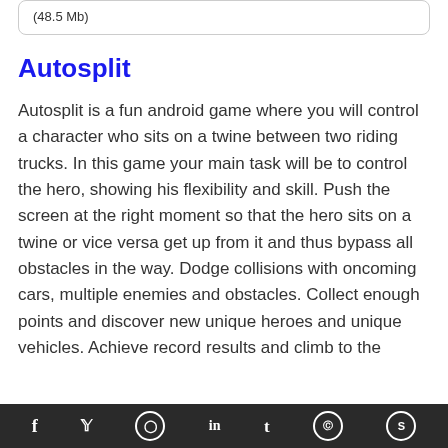(48.5 Mb)
Autosplit
Autosplit is a fun android game where you will control a character who sits on a twine between two riding trucks. In this game your main task will be to control the hero, showing his flexibility and skill. Push the screen at the right moment so that the hero sits on a twine or vice versa get up from it and thus bypass all obstacles in the way. Dodge collisions with oncoming cars, multiple enemies and obstacles. Collect enough points and discover new unique heroes and unique vehicles. Achieve record results and climb to the
f  y  p  in  t  reddit  s